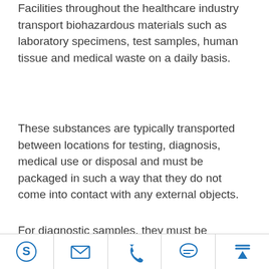Facilities throughout the healthcare industry transport biohazardous materials such as laboratory specimens, test samples, human tissue and medical waste on a daily basis.
These substances are typically transported between locations for testing, diagnosis, medical use or disposal and must be packaged in such a way that they do not come into contact with any external objects.
For diagnostic samples, they must be contained in a sterile environment to prevent their contamination and maintain their test viability. Medical waste and potentially infectious materials from blood or...
[Figure (infographic): Footer navigation bar with 5 icons: Skype logo, envelope/email icon, phone icon, chat bubble icon, and upload/top arrow icon. All icons are in blue color on white background with dividing lines between them.]